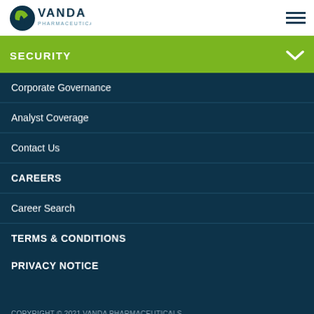[Figure (logo): Vanda Pharmaceuticals Inc. logo with green and dark blue leaf/pill icon and company name]
SECURITY
Corporate Governance
Analyst Coverage
Contact Us
CAREERS
Career Search
TERMS & CONDITIONS
PRIVACY NOTICE
COPYRIGHT © 2021 VANDA PHARMACEUTICALS